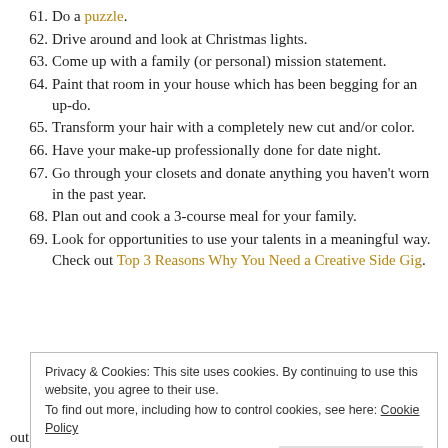61. Do a puzzle.
62. Drive around and look at Christmas lights.
63. Come up with a family (or personal) mission statement.
64. Paint that room in your house which has been begging for an up-do.
65. Transform your hair with a completely new cut and/or color.
66. Have your make-up professionally done for date night.
67. Go through your closets and donate anything you haven't worn in the past year.
68. Plan out and cook a 3-course meal for your family.
69. Look for opportunities to use your talents in a meaningful way. Check out Top 3 Reasons Why You Need a Creative Side Gig.
Privacy & Cookies: This site uses cookies. By continuing to use this website, you agree to their use. To find out more, including how to control cookies, see here: Cookie Policy
out of your routine! Even small changes can have huge impacts